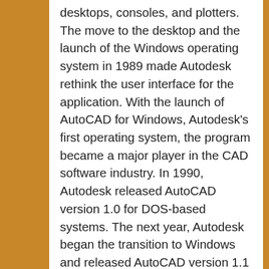desktops, consoles, and plotters. The move to the desktop and the launch of the Windows operating system in 1989 made Autodesk rethink the user interface for the application. With the launch of AutoCAD for Windows, Autodesk's first operating system, the program became a major player in the CAD software industry. In 1990, Autodesk released AutoCAD version 1.0 for DOS-based systems. The next year, Autodesk began the transition to Windows and released AutoCAD version 1.1 for Windows. From 1992 to 1995, many improvements were added to the Windows version of the application. In 1995, AutoCAD version 3.0 was released for the Windows platform. In 1997, AutoCAD was released as a native 2D and 3D modeling and drafting application for Windows, as well as a 2D and 3D drawing and data management application for OS/2 and Unix